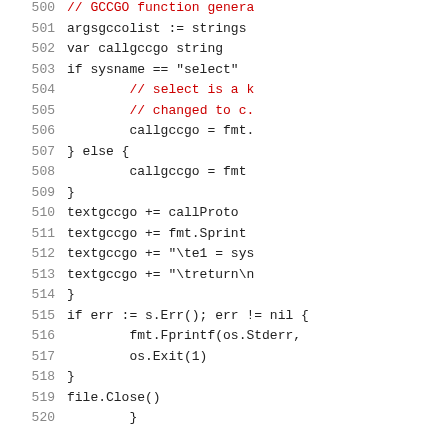[Figure (screenshot): Source code listing in a monospace font showing Go code lines 500-520. Line numbers appear in gray on the left. Comment lines (500, 504, 505) appear in red. Code lines appear in dark/black text. The code shows GCCGO function generation logic with conditional callgccgo assignment and textgccgo string building.]